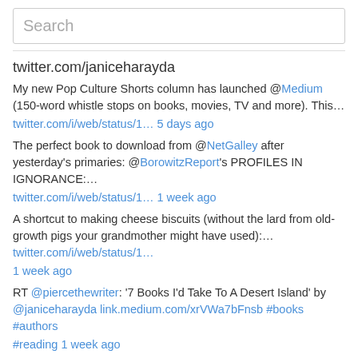Search
twitter.com/janiceharayda
My new Pop Culture Shorts column has launched @Medium (150-word whistle stops on books, movies, TV and more). This… twitter.com/i/web/status/1… 5 days ago
The perfect book to download from @NetGalley after yesterday's primaries: @BorowitzReport's PROFILES IN IGNORANCE:… twitter.com/i/web/status/1… 1 week ago
A shortcut to making cheese biscuits (without the lard from old-growth pigs your grandmother might have used):… twitter.com/i/web/status/1… 1 week ago
RT @piercethewriter: '7 Books I'd Take To A Desert Island' by @janiceharayda link.medium.com/xrVWa7bFnsb #books #authors #reading 1 week ago